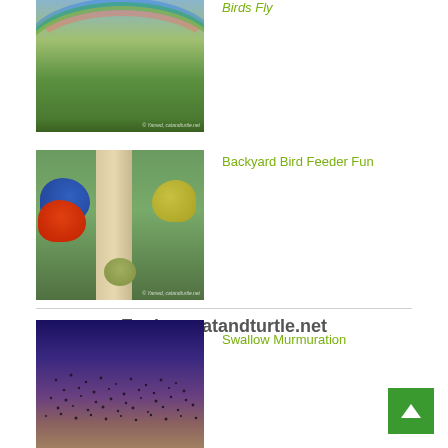[Figure (photo): Landscape photo with rainbow arc over green yard with trees and house]
Birds Fly
[Figure (photo): Close-up photo of a bird feeder with multiple colorful birds including blue, orange/red, yellow, and olive-green birds perched on it]
Backyard Bird Feeder Fun
Explore catandturtle.net
[Figure (photo): Dark twilight sky photo showing a large murmuration of swallows appearing as a dense cloud of tiny dots against a gradient sky from deep blue-purple to warm brown ground]
Swallow Murmuration